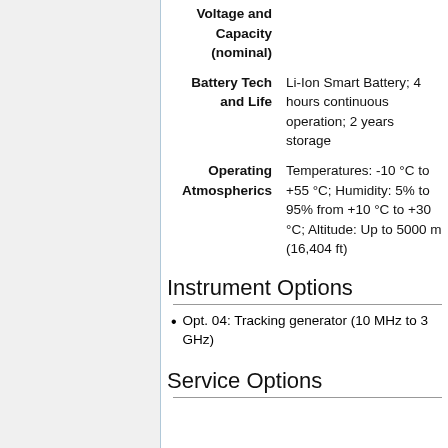| Label | Value |
| --- | --- |
| Voltage and Capacity (nominal) |  |
| Battery Tech and Life | Li-Ion Smart Battery; 4 hours continuous operation; 2 years storage |
| Operating Atmospherics | Temperatures: -10 °C to +55 °C; Humidity: 5% to 95% from +10 °C to +30 °C; Altitude: Up to 5000 m (16,404 ft) |
Instrument Options
Opt. 04: Tracking generator (10 MHz to 3 GHz)
Service Options